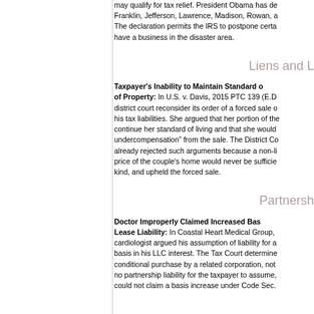may qualify for tax relief. President Obama has declared Franklin, Jefferson, Lawrence, Madison, Rowan, a The declaration permits the IRS to postpone certa have a business in the disaster area.
Liens and L
Taxpayer's Inability to Maintain Standard of Property: In U.S. v. Davis, 2015 PTC 139 (E.D district court reconsider its order of a forced sale o his tax liabilities. She argued that her portion of the continue her standard of living and that she would undercompensation" from the sale. The District Co already rejected such arguments because a non-li price of the couple's home would never be sufficie kind, and upheld the forced sale.
Partnersh
Doctor Improperly Claimed Increased Bas Lease Liability: In Coastal Heart Medical Group, cardiologist argued his assumption of liability for a basis in his LLC interest. The Tax Court determine conditional purchase by a related corporation, not no partnership liability for the taxpayer to assume, could not claim a basis increase under Code Sec.